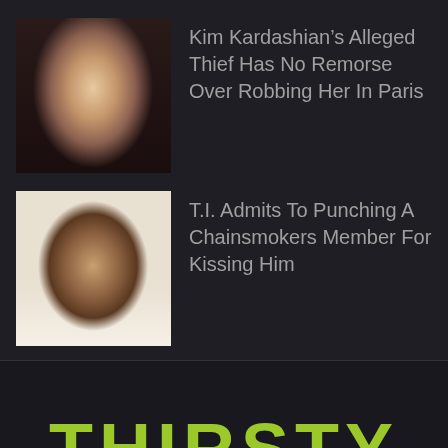[Figure (photo): Thumbnail photo of Kim Kardashian]
Kim Kardashian’s Alleged Thief Has No Remorse Over Robbing Her In Paris
[Figure (photo): Thumbnail photo of T.I.]
T.I. Admits To Punching A Chainsmokers Member For Kissing Him
THIRSTY
WWW.THIRSTYFORNEWS.COM
Your #1 source for Entertainment, Celebrity, Sports, Weird & Shocking News.